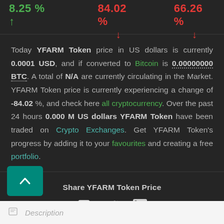[Figure (screenshot): Top bar with three ticker percentage values: 8.25% (green, up arrow), 84.02% (red, down arrow), 66.26% (red, down arrow)]
Today YFARM Token price in US dollars is currently 0.0001 USD, and if converted to Bitcoin is 0.00000000 BTC. A total of N/A are currently circulating in the Market. YFARM Token price is currently experiencing a change of -84.02 %, and check here all cryptocurrency. Over the past 24 hours 0.000 M US dollars YFARM Token have been traded on Crypto Exchanges. Get YFARM Token's progress by adding it to your favourites and creating a free portfolio.
Share YFARM Token Price
[Figure (infographic): Social share icons: Facebook, Twitter, LinkedIn]
Description